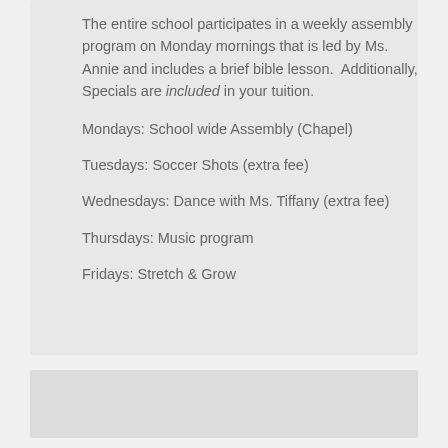The entire school participates in a weekly assembly program on Monday mornings that is led by Ms. Annie and includes a brief bible lesson.  Additionally, Specials are included in your tuition.
Mondays: School wide Assembly (Chapel)
Tuesdays: Soccer Shots (extra fee)
Wednesdays: Dance with Ms. Tiffany (extra fee)
Thursdays: Music program
Fridays: Stretch & Grow